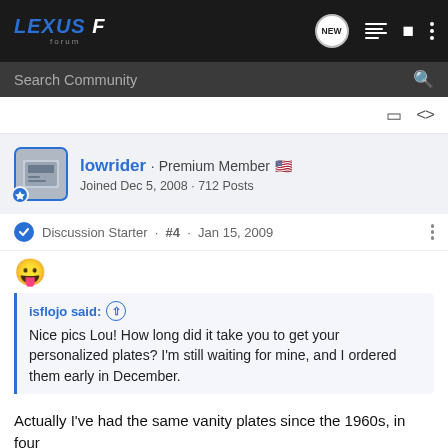LEXUS F forum
Search Community
lowrider · Premium Member 🇺🇸
Joined Dec 5, 2008 · 712 Posts
Discussion Starter · #4 · Jan 15, 2009
😛
isflojo said: ↑
Nice pics Lou! How long did it take you to get your personalized plates? I'm still waiting for mine, and I ordered them early in December.
Actually I've had the same vanity plates since the 1960s, in four